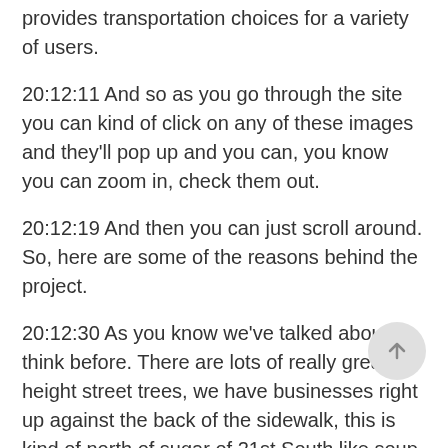provides transportation choices for a variety of users.
20:12:11 And so as you go through the site you can kind of click on any of these images and they'll pop up and you can, you know you can zoom in, check them out.
20:12:19 And then you can just scroll around. So, here are some of the reasons behind the project.
20:12:30 As you know we've talked about I think before. There are lots of really great full height street trees, we have businesses right up against the back of the sidewalk, this is kind of north of sugar of 21st South like soup